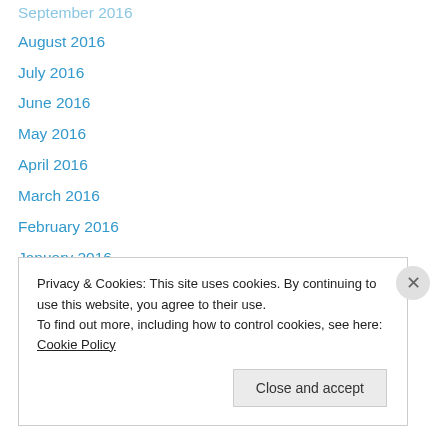September 2016
August 2016
July 2016
June 2016
May 2016
April 2016
March 2016
February 2016
January 2016
December 2015
November 2015
October 2015
September 2015
August 2015
Privacy & Cookies: This site uses cookies. By continuing to use this website, you agree to their use.
To find out more, including how to control cookies, see here: Cookie Policy
Close and accept